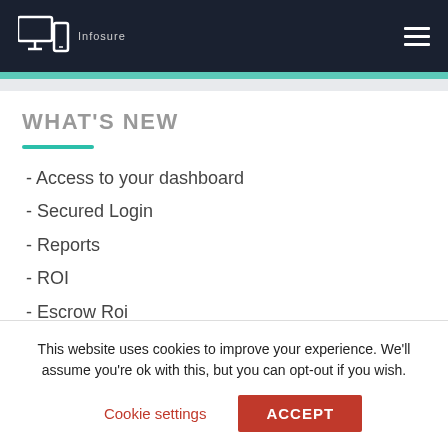Infosure
WHAT'S NEW
- Access to your dashboard
- Secured Login
- Reports
- ROI
- Escrow Roi
IMAGES
This website uses cookies to improve your experience. We'll assume you're ok with this, but you can opt-out if you wish.
Cookie settings   ACCEPT